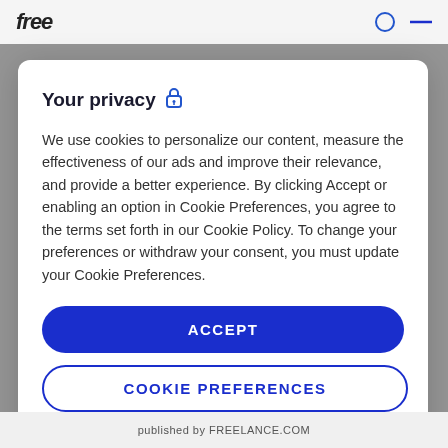free
Your privacy 🔒
We use cookies to personalize our content, measure the effectiveness of our ads and improve their relevance, and provide a better experience. By clicking Accept or enabling an option in Cookie Preferences, you agree to the terms set forth in our Cookie Policy. To change your preferences or withdraw your consent, you must update your Cookie Preferences.
ACCEPT
COOKIE PREFERENCES
Continue without accepting
published by FREELANCE.COM